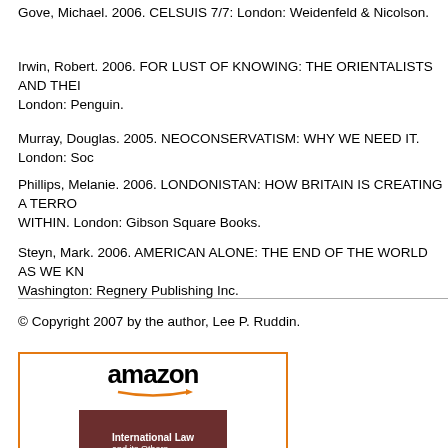Gove, Michael. 2006. CELSUIS 7/7: London: Weidenfeld & Nicolson.
Irwin, Robert. 2006. FOR LUST OF KNOWING: THE ORIENTALISTS AND THEIR ENEMIES. London: Penguin.
Murray, Douglas. 2005. NEOCONSERVATISM: WHY WE NEED IT. London: Soc...
Phillips, Melanie. 2006. LONDONISTAN: HOW BRITAIN IS CREATING A TERROR STATE WITHIN. London: Gibson Square Books.
Steyn, Mark. 2006. AMERICAN ALONE: THE END OF THE WORLD AS WE KNOW IT. Washington: Regnery Publishing Inc.
© Copyright 2007 by the author, Lee P. Ruddin.
[Figure (illustration): Amazon advertisement box with Amazon logo and arrow, showing book covers for 'International Law and its Others', with link text 'International Law and its...']